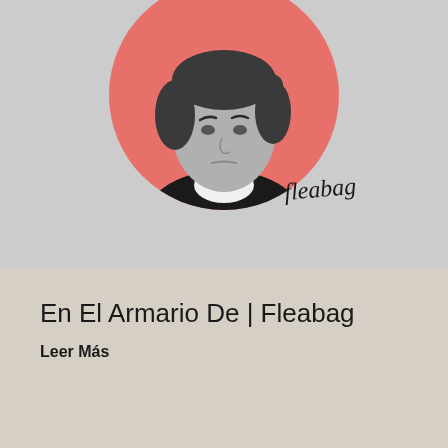[Figure (illustration): Circular cropped black-and-white photo of a woman with dark hair wearing a black outfit with white collar, set against a salmon/coral pink circular background. The word 'fleabag' is written in cursive script over the lower-right portion of the circle.]
En El Armario De | Fleabag
Leer Más